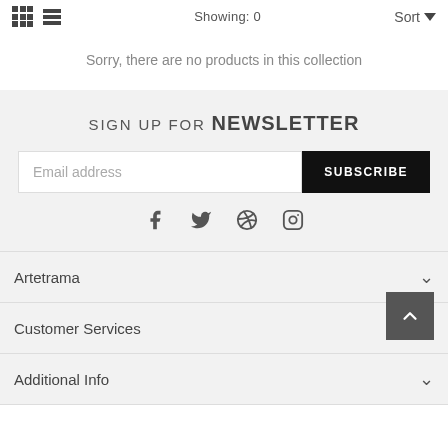Showing: 0   Sort
Sorry, there are no products in this collection
SIGN UP FOR NEWSLETTER
Email address
SUBSCRIBE
[Figure (illustration): Social media icons: Facebook, Twitter, Pinterest, Instagram]
Artetrama
Customer Services
Additional Info